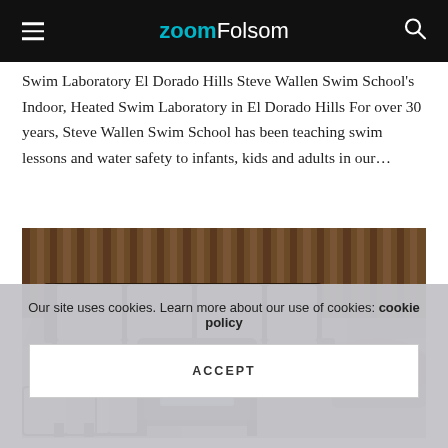ZoomFolsom
Swim Laboratory El Dorado Hills Steve Wallen Swim School's Indoor, Heated Swim Laboratory in El Dorado Hills For over 30 years, Steve Wallen Swim School has been teaching swim lessons and water safety to infants, kids and adults in our…
[Figure (photo): Outdoor patio with L-shaped sectional sofa with gray cushions surrounding a dark wicker fire pit table, set on a flagstone patio with a wooden fence and mulched garden bed in the background.]
Our site uses cookies. Learn more about our use of cookies: cookie policy
ACCEPT